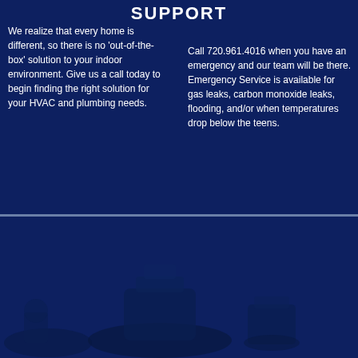SUPPORT
We realize that every home is different, so there is no 'out-of-the-box' solution to your indoor environment. Give us a call today to begin finding the right solution for your HVAC and plumbing needs.
Call 720.961.4016 when you have an emergency and our team will be there. Emergency Service is available for gas leaks, carbon monoxide leaks, flooding, and/or when temperatures drop below the teens.
[Figure (photo): Dark blue tinted photo of HVAC or plumbing equipment/technician in lower half of page]